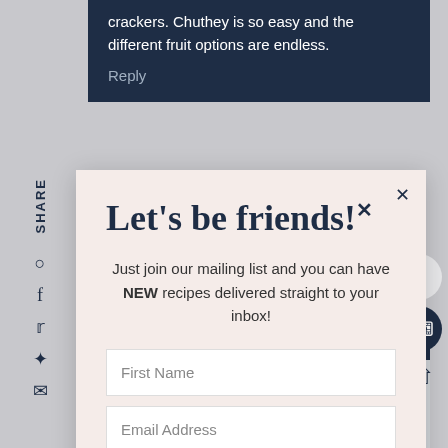crackers. Chuthey is so easy and the different fruit options are endless.
Reply
Let's be friends!
Just join our mailing list and you can have NEW recipes delivered straight to your inbox!
First Name
Email Address
SUBSCRIBE
Mary Ann